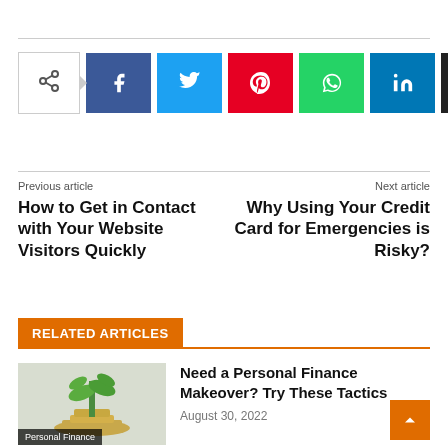[Figure (other): Social share buttons row: share icon, Facebook, Twitter, Pinterest, WhatsApp, LinkedIn, Email]
Previous article
How to Get in Contact with Your Website Visitors Quickly
Next article
Why Using Your Credit Card for Emergencies is Risky?
RELATED ARTICLES
[Figure (photo): Small green plant growing from coins on a white background]
Personal Finance
Need a Personal Finance Makeover? Try These Tactics
August 30, 2022